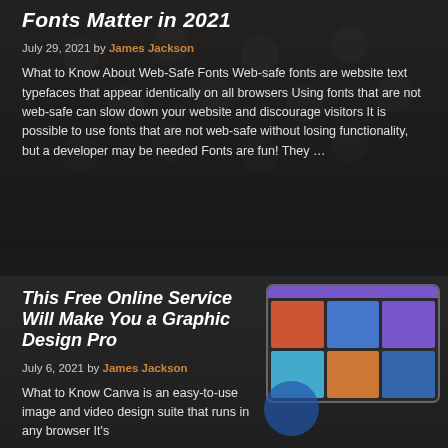Fonts Matter in 2021
July 29, 2021 by James Jackson
What to Know About Web-Safe Fonts Web-safe fonts are website text typefaces that appear identically on all browsers Using fonts that are not web-safe can slow down your website and discourage visitors It is possible to use fonts that are not web-safe without losing functionality, but a developer may be needed Fonts are fun! They ...
This Free Online Service Will Make You a Graphic Design Pro
July 6, 2021 by James Jackson
What to Know Canva is an easy-to-use image and video design suite that runs in any browser It's